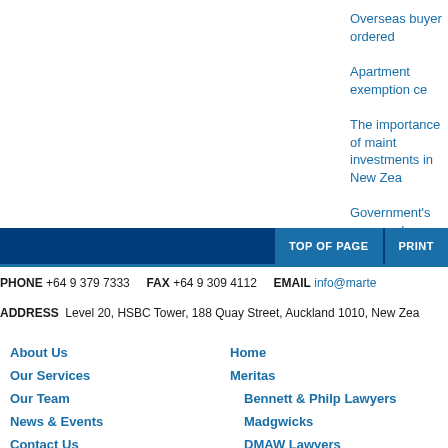Overseas buyer ordered
Apartment exemption ce
The importance of maint investments in New Zea
Government's proposed
TOP OF PAGE   PRINT
PHONE +64 9 379 7333   FAX +64 9 309 4112   EMAIL info@mart
ADDRESS Level 20, HSBC Tower, 188 Quay Street, Auckland 1010, New Zea
About Us
Our Services
Our Team
News & Events
Contact Us
Home
Meritas
Bennett & Philp Lawyers
Madgwicks
DMAW Lawyers